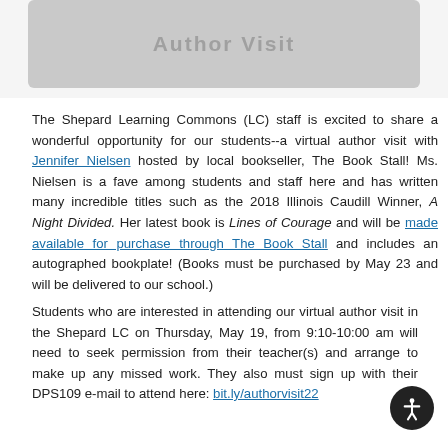[Figure (other): Gray banner at top of page, partially visible, with 'Author Visit' text]
The Shepard Learning Commons (LC) staff is excited to share a wonderful opportunity for our students--a virtual author visit with Jennifer Nielsen hosted by local bookseller, The Book Stall! Ms. Nielsen is a fave among students and staff here and has written many incredible titles such as the 2018 Illinois Caudill Winner, A Night Divided. Her latest book is Lines of Courage and will be made available for purchase through The Book Stall and includes an autographed bookplate! (Books must be purchased by May 23 and will be delivered to our school.)
Students who are interested in attending our virtual author visit in the Shepard LC on Thursday, May 19, from 9:10-10:00 am will need to seek permission from their teacher(s) and arrange to make up any missed work. They also must sign up with their DPS109 e-mail to attend here: bit.ly/authorvisit22